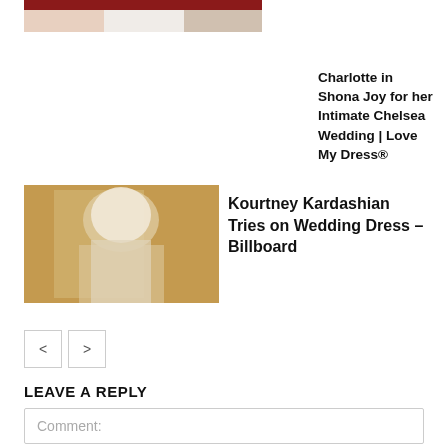[Figure (photo): Partial view of people at a wedding, cropped at top of page]
Charlotte in Shona Joy for her Intimate Chelsea Wedding | Love My Dress®
[Figure (photo): Kourtney Kardashian in a white veil at a wedding, warm golden lighting]
Kourtney Kardashian Tries on Wedding Dress – Billboard
< >
LEAVE A REPLY
Comment: